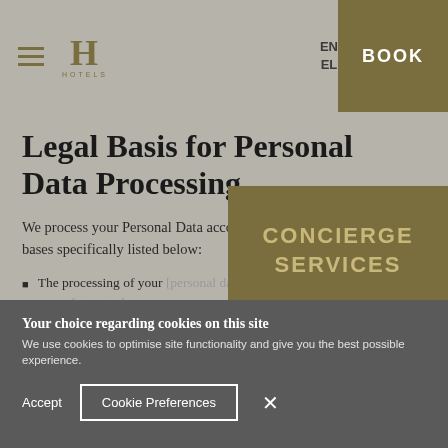EN EL BOOK
Legal Basis for Personal Data Processing
We process your Personal Data according to at least one of the legal bases specifically listed below:
The processing of your [data is necessary for] the execution of our co[ntract]
Processing is based on [your consent / legitimate interests]
[Figure (other): Concierge Services promotional overlay button in olive/gold color]
Your choice regarding cookies on this site
We use cookies to optimise site functionality and give you the best possible experience.
Accept   Cookie Preferences   ✕